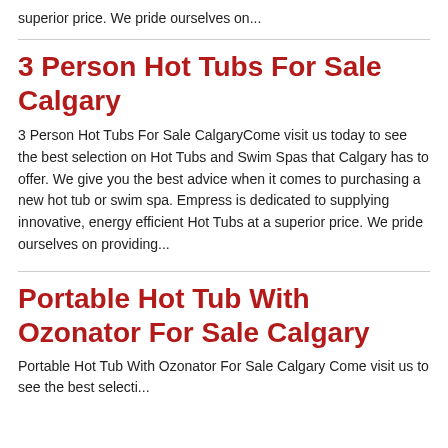superior price. We pride ourselves on...
3 Person Hot Tubs For Sale Calgary
3 Person Hot Tubs For Sale CalgaryCome visit us today to see the best selection on Hot Tubs and Swim Spas that Calgary has to offer. We give you the best advice when it comes to purchasing a new hot tub or swim spa. Empress is dedicated to supplying innovative, energy efficient Hot Tubs at a superior price. We pride ourselves on providing...
Portable Hot Tub With Ozonator For Sale Calgary
Portable Hot Tub With Ozonator For Sale Calgary Come visit us to see the best selection...